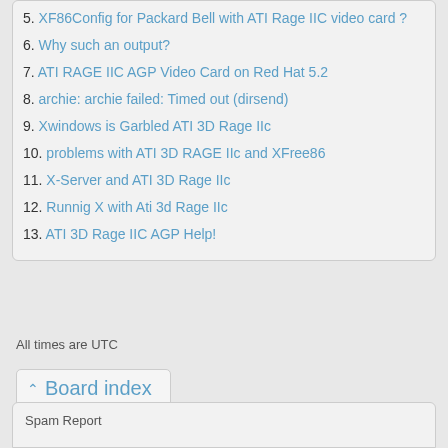5. XF86Config for Packard Bell with ATI Rage IIC video card ?
6. Why such an output?
7. ATI RAGE IIC AGP Video Card on Red Hat 5.2
8. archie: archie failed: Timed out (dirsend)
9. Xwindows is Garbled ATI 3D Rage IIc
10. problems with ATI 3D RAGE IIc and XFree86
11. X-Server and ATI 3D Rage IIc
12. Runnig X with Ati 3d Rage IIc
13. ATI 3D Rage IIC AGP Help!
All times are UTC
Board index
Spam Report